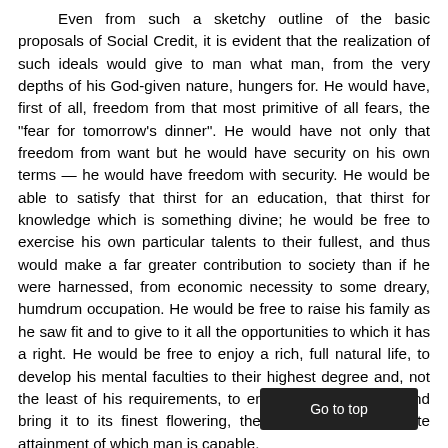Even from such a sketchy outline of the basic proposals of Social Credit, it is evident that the realization of such ideals would give to man what man, from the very depths of his God-given nature, hungers for. He would have, first of all, freedom from that most primitive of all fears, the "fear for tomorrow's dinner". He would have not only that freedom from want but he would have security on his own terms — he would have freedom with security. He would be able to satisfy that thirst for an education, that thirst for knowledge which is something divine; he would be free to exercise his own particular talents to their fullest, and thus would make a far greater contribution to society than if he were harnessed, from economic necessity to some dreary, humdrum occupation. He would be free to raise his family as he saw fit and to give to it all the opportunities to which it has a right. He would be free to enjoy a rich, full natural life, to develop his mental faculties to their highest degree and, not the least of his requirements, to enrich his spiritual life and bring it to its finest flowering, the last being the ultimate attainment of which man is capable.
This is the ideal which the principles and doctrine of Social Credit holds forth. It is an ideal so practicable that the only obstacle to its realization is the existing financial system (a man-made thing) which